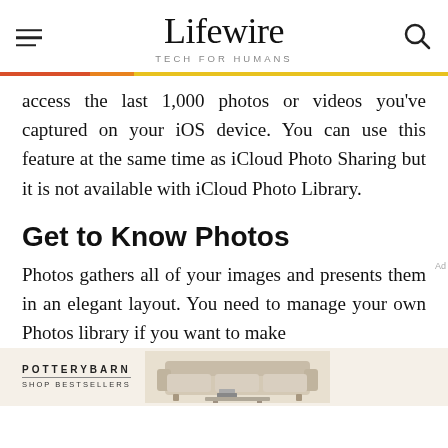Lifewire — TECH FOR HUMANS
access the last 1,000 photos or videos you've captured on your iOS device. You can use this feature at the same time as iCloud Photo Sharing but it is not available with iCloud Photo Library.
Get to Know Photos
Photos gathers all of your images and presents them in an elegant layout. You need to manage your own Photos library if you want to make
[Figure (other): Pottery Barn advertisement banner with logo and sofa image]